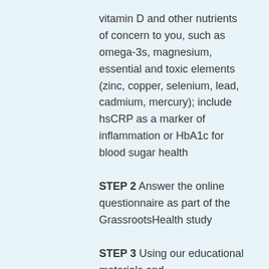vitamin D and other nutrients of concern to you, such as omega-3s, magnesium, essential and toxic elements (zinc, copper, selenium, lead, cadmium, mercury); include hsCRP as a marker of inflammation or HbA1c for blood sugar health
STEP 2 Answer the online questionnaire as part of the GrassrootsHealth study
STEP 3 Using our educational materials and